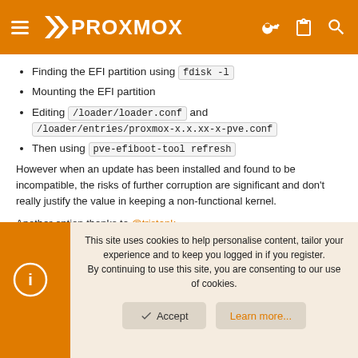Proxmox
Finding the EFI partition using fdisk -l
Mounting the EFI partition
Editing /loader/loader.conf and /loader/entries/proxmox-x.x.xx-x-pve.conf
Then using pve-efiboot-tool refresh
However when an update has been installed and found to be incompatible, the risks of further corruption are significant and don't really justify the value in keeping a non-functional kernel.
Another option thanks to @tristank
This site uses cookies to help personalise content, tailor your experience and to keep you logged in if you register. By continuing to use this site, you are consenting to our use of cookies.